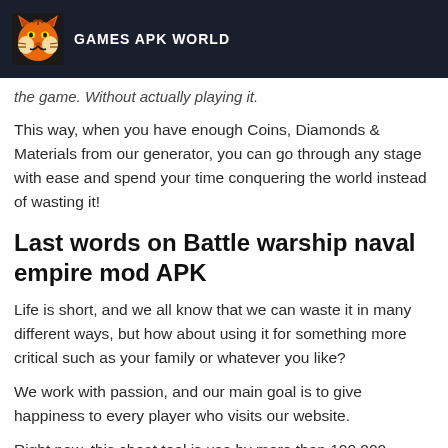GAMES APK WORLD
the game. Without actually playing it.
This way, when you have enough Coins, Diamonds & Materials from our generator, you can go through any stage with ease and spend your time conquering the world instead of wasting it!
Last words on Battle warship naval empire mod APK
Life is short, and we all know that we can waste it in many different ways, but how about using it for something more critical such as your family or whatever you like?
We work with passion, and our main goal is to give happiness to every player who visits our website.
Right now, this cheat tool is use by more than 100,000 people